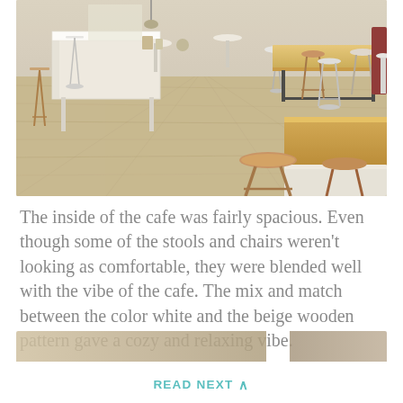[Figure (photo): Interior of a cafe with light beige/tan wood-look flooring, white counters and bar area on the left, various stools and chairs in different styles (white metal stools, wooden stools, dark metal frame chairs), long wooden bench tables on the right side, and light brick or plaster walls. The space is airy and open with a mix of seating styles blended in a cohesive beige and white color palette.]
The inside of the cafe was fairly spacious. Even though some of the stools and chairs weren't looking as comfortable, they were blended well with the vibe of the cafe. The mix and match between the color white and the beige wooden pattern gave a cozy and relaxing vibe.
READ NEXT ^